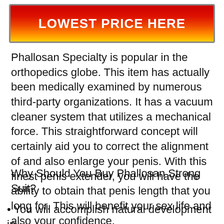[Figure (other): Red-to-yellow gradient banner button with white bold text reading LOWEST PRICE HERE]
Phallosan Specialty is popular in the orthopedics globe. This item has actually been medically examined by numerous third-party organizations. It has a vacuum cleaner system that utilizes a mechanical force. This straightforward concept will certainly aid you to correct the alignment of and also enlarge your penis. With this finest penis extender, you will have the ability to obtain that penis length that you long for. This will benefit your sex life and also your confidence.
Why Should You Buy Phallosan Strong Suit?
You will accomplish natural development in